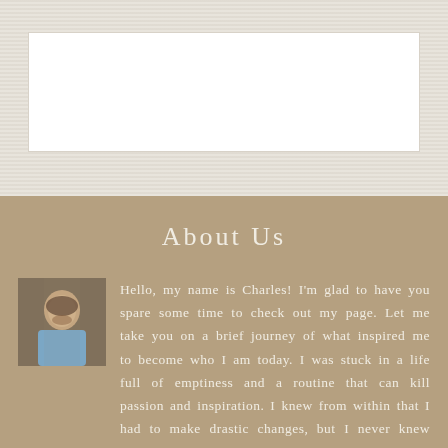[Figure (other): Top decorative section with textured cream/linen background and a white rectangular box]
About Us
[Figure (photo): Small portrait photo of a bearded man in a blue shirt]
Hello, my name is Charles! I'm glad to have you spare some time to check out my page. Let me take you on a brief journey of what inspired me to become who I am today. I was stuck in a life full of emptiness and a routine that can kill passion and inspiration. I knew from within that I had to make drastic changes, but I never knew how and where to start